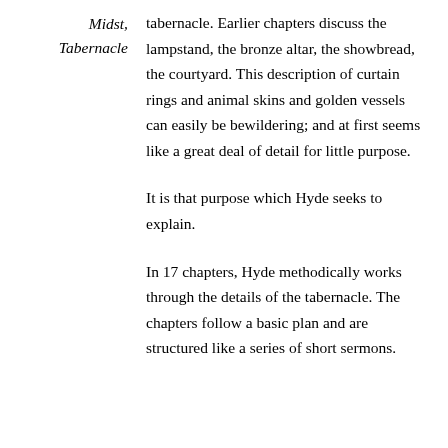Midst, Tabernacle
tabernacle. Earlier chapters discuss the lampstand, the bronze altar, the showbread, the courtyard. This description of curtain rings and animal skins and golden vessels can easily be bewildering; and at first seems like a great deal of detail for little purpose.
It is that purpose which Hyde seeks to explain.
In 17 chapters, Hyde methodically works through the details of the tabernacle. The chapters follow a basic plan and are structured like a series of short sermons.